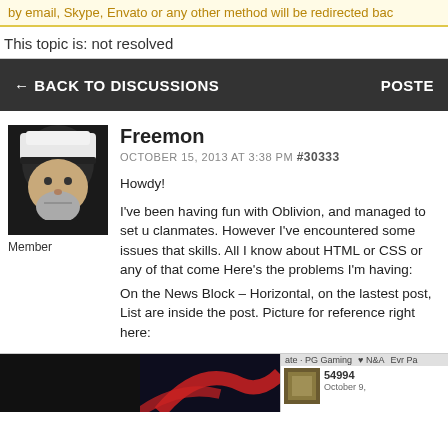by email, Skype, Envato or any other method will be redirected bac
This topic is: not resolved
← BACK TO DISCUSSIONS   POSTE
Freemon
OCTOBER 15, 2013 AT 3:38 PM #30333
Howdy!

I've been having fun with Oblivion, and managed to set u clanmates. However I've encountered some issues that skills. All I know about HTML or CSS or any of that come Here's the problems I'm having:
On the News Block – Horizontal, on the lastest post, List are inside the post. Picture for reference right here:
[Figure (screenshot): Screenshot of a news block showing dark panel, stylized graphic, and sidebar with number 54994 and date October 9]